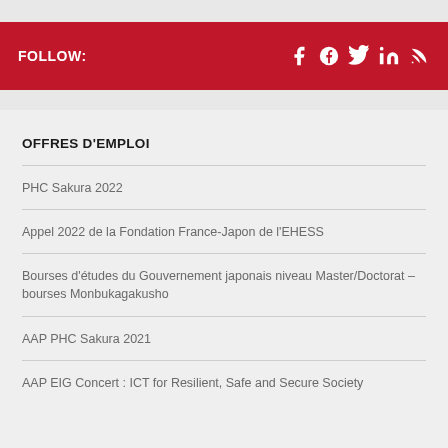FOLLOW:
OFFRES D'EMPLOI
PHC Sakura 2022
Appel 2022 de la Fondation France-Japon de l'EHESS
Bourses d'études du Gouvernement japonais niveau Master/Doctorat – bourses Monbukagakusho
AAP PHC Sakura 2021
AAP EIG Concert : ICT for Resilient, Safe and Secure Society